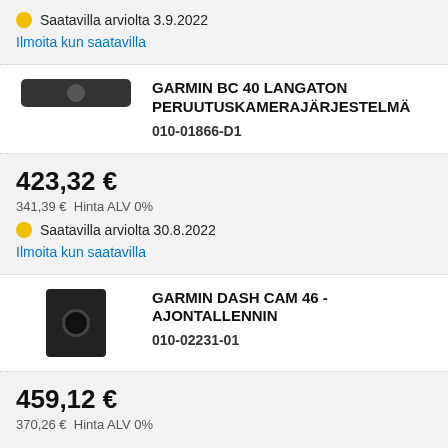Saatavilla arviolta 3.9.2022
Ilmoita kun saatavilla
GARMIN BC 40 LANGATON PERUUTUSKAMERAJÄRJESTELMÄ
010-01866-D1
423,32 €
341,39 €  Hinta ALV 0%
Saatavilla arviolta 30.8.2022
Ilmoita kun saatavilla
GARMIN DASH CAM 46 - AJONTALLENNIN
010-02231-01
459,12 €
370,26 €  Hinta ALV 0%